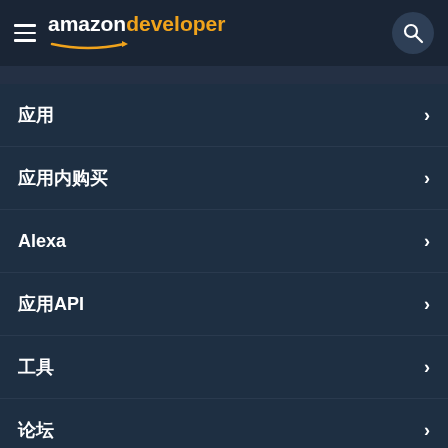amazon developer
应用
应用内购买
Alexa
应用API
工具
论坛
Language  Chinese (简)